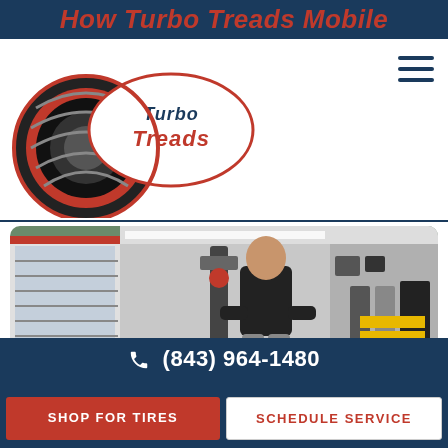How Turbo Treads Mobile
[Figure (logo): Turbo Treads logo with tire graphic and stylized script text]
[Figure (photo): A technician in a black uniform working with a tire inside a mobile tire service van/trailer, with tire mounting equipment visible]
(843) 964-1480
SHOP FOR TIRES
SCHEDULE SERVICE